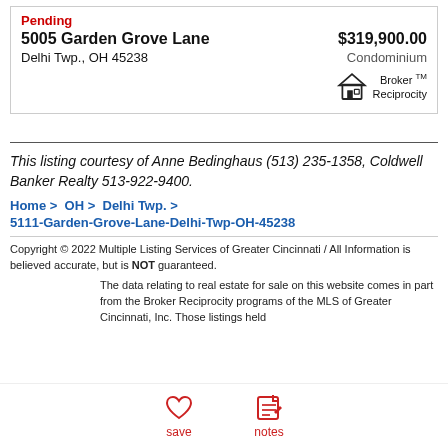Pending
5005 Garden Grove Lane — $319,900.00
Delhi Twp., OH 45238 — Condominium
[Figure (logo): Broker Reciprocity logo with house icon]
This listing courtesy of Anne Bedinghaus (513) 235-1358, Coldwell Banker Realty 513-922-9400.
Home > OH > Delhi Twp. > 5111-Garden-Grove-Lane-Delhi-Twp-OH-45238
Copyright © 2022 Multiple Listing Services of Greater Cincinnati / All Information is believed accurate, but is NOT guaranteed.
The data relating to real estate for sale on this website comes in part from the Broker Reciprocity programs of the MLS of Greater Cincinnati, Inc. Those listings held
[Figure (infographic): Bottom navigation bar with save (heart) and notes (edit) icons]